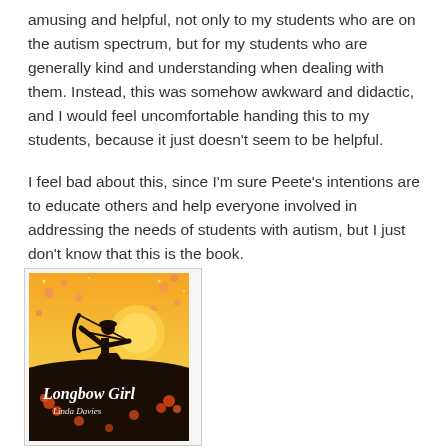amusing and helpful, not only to my students who are on the autism spectrum, but for my students who are generally kind and understanding when dealing with them. Instead, this was somehow awkward and didactic, and I would feel uncomfortable handing this to my students, because it just doesn't seem to be helpful.
I feel bad about this, since I'm sure Peete's intentions are to educate others and help everyone involved in addressing the needs of students with autism, but I just don't know that this is the book.
[Figure (illustration): Book cover of 'Longbow Girl' by Linda Davies. Orange and yellow background with a black silhouette of a girl drawing a longbow. Lower half has a black ground with orange floral decorations. Title 'Longbow Girl' and author name 'Linda Davies' appear in white script text on the dark lower portion.]